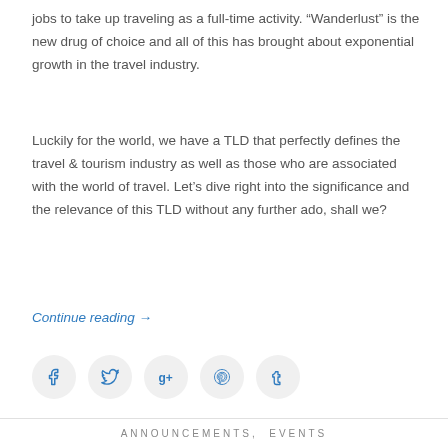jobs to take up traveling as a full-time activity. “Wanderlust” is the new drug of choice and all of this has brought about exponential growth in the travel industry.
Luckily for the world, we have a TLD that perfectly defines the travel & tourism industry as well as those who are associated with the world of travel. Let’s dive right into the significance and the relevance of this TLD without any further ado, shall we?
Continue reading →
[Figure (other): Social sharing buttons row: Facebook, Twitter, Google+, Pinterest, Tumblr icons in circular light grey buttons]
ANNOUNCEMENTS, EVENTS